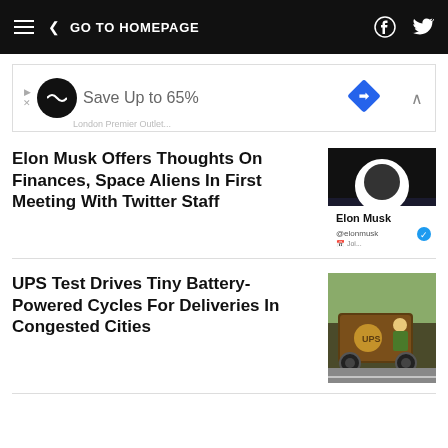GO TO HOMEPAGE
[Figure (screenshot): Advertisement banner: Save Up to 65% with logo and diamond icon]
Elon Musk Offers Thoughts On Finances, Space Aliens In First Meeting With Twitter Staff
[Figure (photo): Photo of Elon Musk Twitter profile on a phone screen showing @elonmusk verified account]
UPS Test Drives Tiny Battery-Powered Cycles For Deliveries In Congested Cities
[Figure (photo): Photo of UPS worker driving a small battery-powered delivery cycle on a city street]